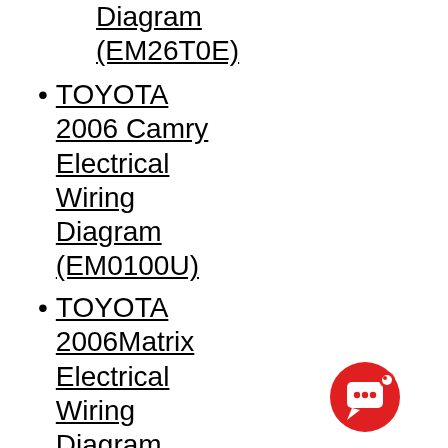Diagram (EM26T0E)
TOYOTA 2006 Camry Electrical Wiring Diagram (EM0100U)
TOYOTA 2006Matrix Electrical Wiring Diagram (EM00F0U)
TOYOTA 2006Sequoia Electrical Wiring